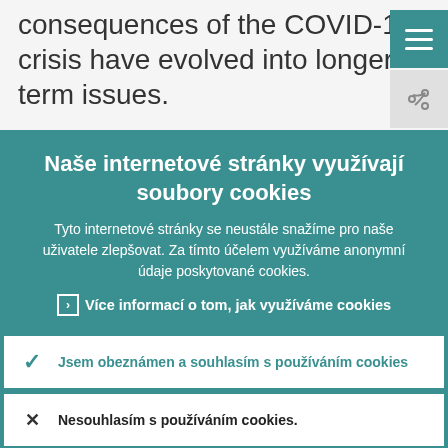whether the short-term consequences of the COVID-19 crisis have evolved into longer-term issues.
Naše internetové stránky využívají soubory cookies
Tyto internetové stránky se neustále snažíme pro naše uživatele zlepšovat. Za tímto účelem využíváme anonymní údaje poskytované cookies.
› Více informací o tom, jak využíváme cookies
✓ Jsem obeznámen a souhlasím s používáním cookies
✕ Nesouhlasím s používáním cookies.